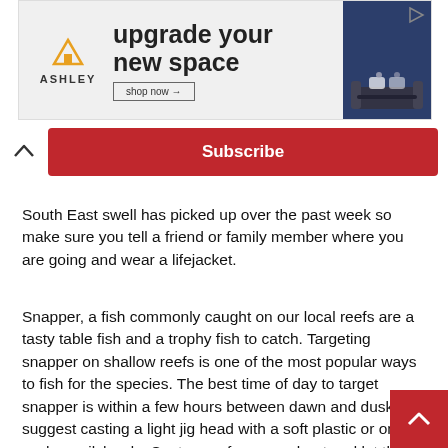[Figure (other): Ashley Furniture advertisement banner: 'upgrade your new space' with shop now button and sofa image]
Subscribe
South East swell has picked up over the past week so make sure you tell a friend or family member where you are going and wear a lifejacket.
Snapper, a fish commonly caught on our local reefs are a tasty table fish and a trophy fish to catch. Targeting snapper on shallow reefs is one of the most popular ways to fish for the species. The best time of day to target snapper is within a few hours between dawn and dusk. I suggest casting a light jig head with a soft plastic or on bait such as pilchards. Cast away from your boat and let the line off your reel to allow the jig or bait to slowly sink to the bottom. Snapper will feed from surface to the ocean floor and don't be surprised if you h up not long after casting. Having a berley trail will also increase